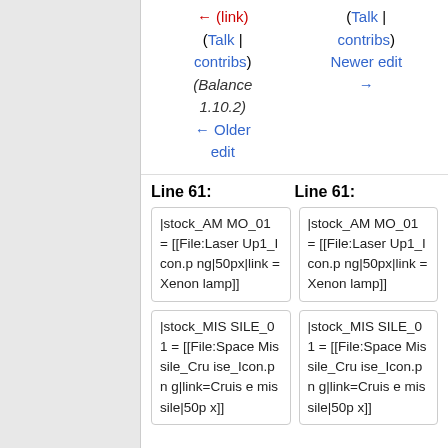(Talk | contribs) (Balance 1.10.2) ← Older edit
(Talk | contribs) Newer edit →
Line 61:
Line 61:
|stock_AMMO_01 = [[File:LaserUp1_Icon.png|50px|link=Xenon lamp]]
|stock_AMMO_01 = [[File:LaserUp1_Icon.png|50px|link=Xenon lamp]]
|stock_MISSILE_01 = [[File:SpaceMissile_Cruise_Icon.png|link=Cruise missile|50p...
|stock_MISSILE_01 = [[File:SpaceMissile_Cruise_Icon.png|link=Cruise missile|50p...